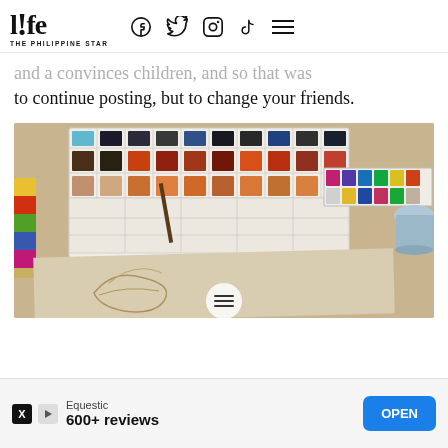life THE PHILIPPINE STAR
and a convinces children, and so that was to continue posting, but to change your friends.
[Figure (photo): Overhead view of watercolor paint palettes with multiple colors, paint brushes, and a sketchbook with a drawing in progress on a table.]
Equestic 600+ reviews OPEN